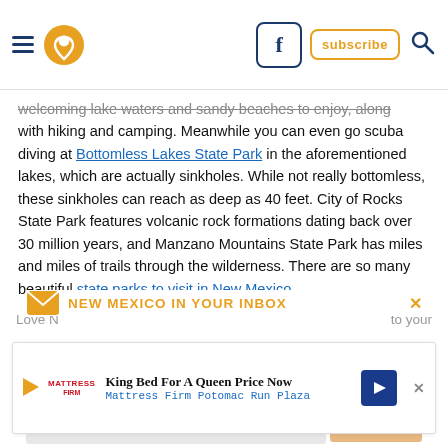[menu icon] [pin/location icon] [facebook button] [subscribe button] [search icon]
welcoming lake waters and sandy beaches to enjoy, along with hiking and camping. Meanwhile you can even go scuba diving at Bottomless Lakes State Park in the aforementioned lakes, which are actually sinkholes. While not really bottomless, these sinkholes can reach as deep as 40 feet. City of Rocks State Park features volcanic rock formations dating back over 30 million years, and Manzano Mountains State Park has miles and miles of trails through the wilderness. There are so many beautiful state parks to visit in New Mexico.
[Figure (other): Email newsletter signup banner: envelope icon, 'NEW MEXICO IN YOUR INBOX' in orange uppercase bold text, X close button]
[Figure (other): Advertisement overlay: Mattress Firm logo with play button, 'King Bed For A Queen Price Now', 'Mattress Firm Potomac Run Plaza', blue navigation arrow icon, close X button]